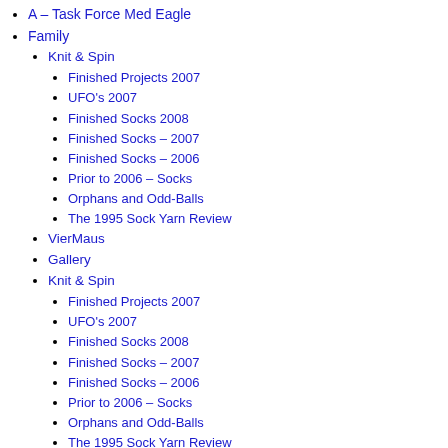A – Task Force Med Eagle
Family
Knit & Spin
Finished Projects 2007
UFO's 2007
Finished Socks 2008
Finished Socks – 2007
Finished Socks – 2006
Prior to 2006 – Socks
Orphans and Odd-Balls
The 1995 Sock Yarn Review
VierMaus
Gallery
Knit & Spin
Finished Projects 2007
UFO's 2007
Finished Socks 2008
Finished Socks – 2007
Finished Socks – 2006
Prior to 2006 – Socks
Orphans and Odd-Balls
The 1995 Sock Yarn Review